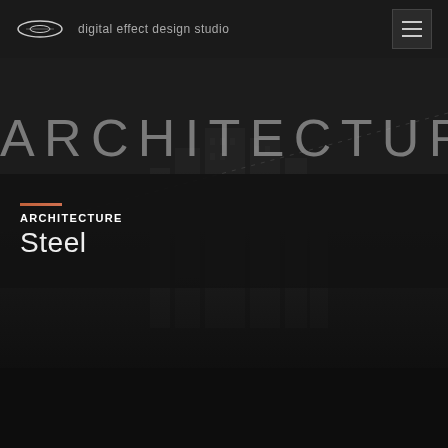[Figure (logo): Oval/ellipse logo icon in white]
digital effect design studio
[Figure (screenshot): Dark architecture website screenshot with large ARCHITECTURE title text, diagonal dashed line overlay, and dimly visible architectural building structure in background]
ARCHITECTURE
ARCHITECTURE
Steel